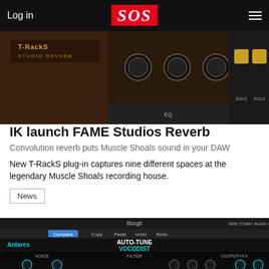Log in  SOS  ☰
[Figure (screenshot): T-RackS Studio Reverb plugin UI showing knobs and controls with dark brown wood-style interface]
IK launch FAME Studios Reverb
Convolution reverb puts Muscle Shoals sound in your DAW
New T-RackS plug-in captures nine different spaces at the legendary Muscle Shoals recording house.
News
[Figure (screenshot): Antares Auto-Tune Vocodist plugin interface showing Voice, Filter, and Output+FX sections with various knobs, sliders, and a frequency display]